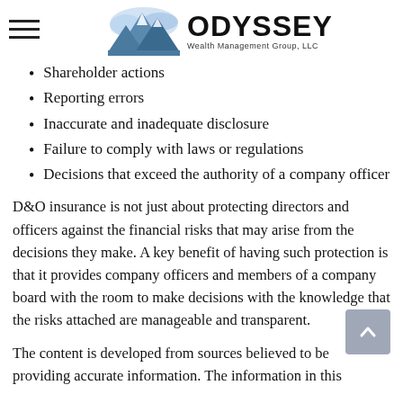[Figure (logo): Odyssey Wealth Management Group, LLC logo with mountain graphic and bold ODYSSEY text]
Shareholder actions
Reporting errors
Inaccurate and inadequate disclosure
Failure to comply with laws or regulations
Decisions that exceed the authority of a company officer
D&O insurance is not just about protecting directors and officers against the financial risks that may arise from the decisions they make. A key benefit of having such protection is that it provides company officers and members of a company board with the room to make decisions with the knowledge that the risks attached are manageable and transparent.
The content is developed from sources believed to be providing accurate information. The information in this